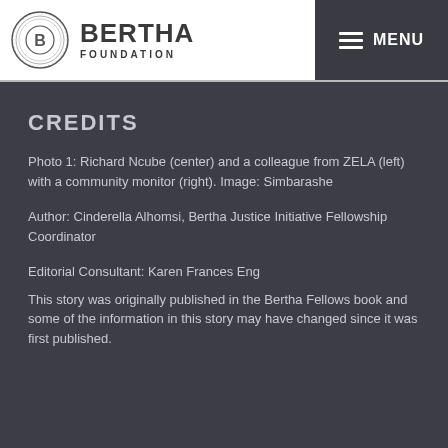Bertha Foundation — MENU
CREDITS
Photo 1: Richard Ncube (center) and a colleague from ZELA (left) with a community monitor (right). Image: Simbarashe
Author: Cinderella Alhomsi, Bertha Justice Initiative Fellowship Coordinator
Editorial Consultant: Karen Frances Eng
This story was originally published in the Bertha Fellows book and some of the information in this story may have changed since it was first published.